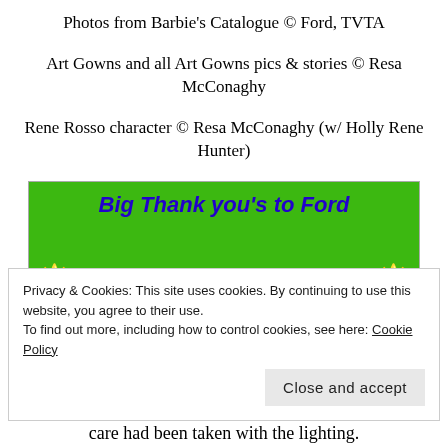Photos from Barbie's Catalogue © Ford, TVTA
Art Gowns and all Art Gowns pics & stories © Resa McConaghy
Rene Rosso character © Resa McConaghy (w/ Holly Rene Hunter)
[Figure (screenshot): Green banner with bold italic blue text reading 'Big Thank you's to Ford' and partial second line with flame/spark decorations on either side, partially obscured by cookie notice overlay]
Privacy & Cookies: This site uses cookies. By continuing to use this website, you agree to their use.
To find out more, including how to control cookies, see here: Cookie Policy
Close and accept
care had been taken with the lighting.